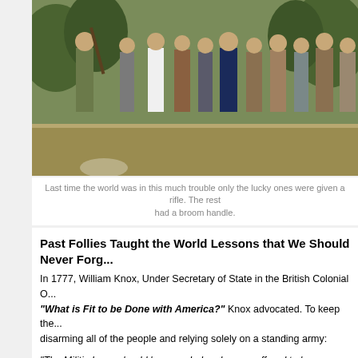[Figure (photo): A colorized historical photograph showing a group of men standing outdoors, with one man at the front holding a rifle, apparently demonstrating or instructing the others who are watching. Trees are visible in the background.]
Last time the world was in this much trouble only the lucky ones were given a rifle. The rest had a broom handle.
Past Follies Taught the World Lessons that We Should Never Forg...
In 1777, William Knox, Under Secretary of State in the British Colonial O... "What is Fit to be Done with America?" Knox advocated. To keep the... disarming all of the people and relying solely on a standing army:
"The Militia Laws should be repealed and none suffered to be re-enacte... be taken away, & every piece of Ordnance removed into the King's Sto... manufactory of Arms, Gunpowder, or Warlike Stores, be ever suffered i...